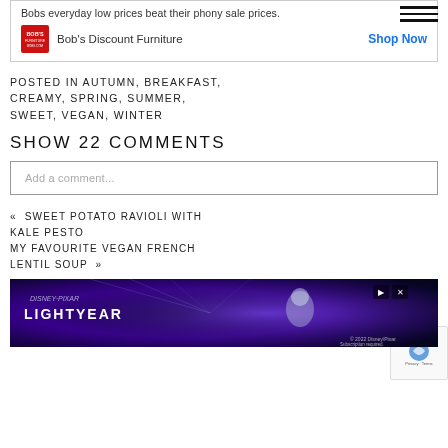[Figure (other): Bob's Discount Furniture advertisement with tagline and Shop Now button]
POSTED IN AUTUMN, BREAKFAST, CREAMY, SPRING, SUMMER, SWEET, VEGAN, WINTER
SHOW 22 COMMENTS
Add a comment...
« SWEET POTATO RAVIOLI WITH KALE PESTO
MY FAVOURITE VEGAN FRENCH LENTIL SOUP »
[Figure (other): Disney Pixar Lightyear movie advertisement banner]